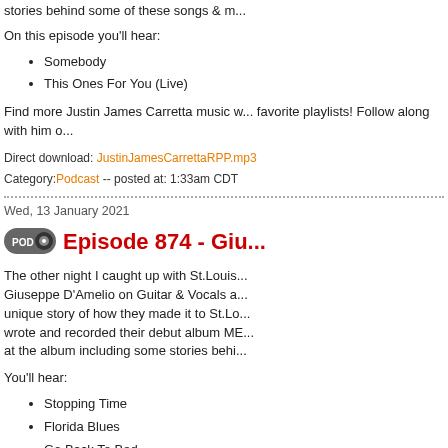stories behind some of these songs & m...
On this episode you'll hear:
Somebody
This Ones For You (Live)
Find more Justin James Carretta music w... favorite playlists! Follow along with him o...
Direct download: JustinJamesCarrettaRPP.mp3
Category:Podcast -- posted at: 1:33am CDT
Wed, 13 January 2021
Episode 874 - Giu...
The other night I caught up with St.Louis... Giuseppe D'Amelio on Guitar & Vocals a... unique story of how they made it to St.Lo... wrote and recorded their debut album ME... at the album including some stories behi...
You'll hear:
Stopping Time
Florida Blues
Go Back To Bed
Coffin Full Of Sins
Find MET AT THE MISSISSIPPI whereve... GRplayBlues.com
Follow along with them on Facebook & I...
Direct download: GiuseppeRodngoRPP.mp3